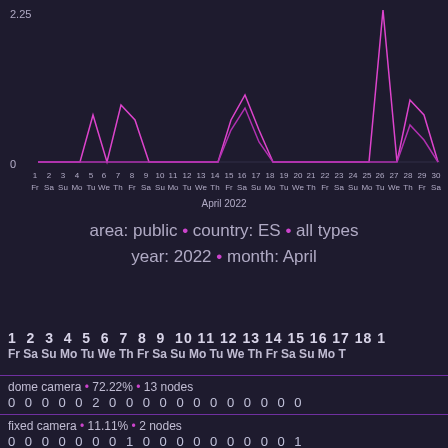[Figure (line-chart): Line chart showing daily counts for April 2022, with peaks around days 5-8, 15-17, and 26-29. Y-axis goes from 0 to 2.25.]
area: public • country: ES • all types
year: 2022 • month: April
| 1 Fr | 2 Sa | 3 Su | 4 Mo | 5 Tu | 6 We | 7 Th | 8 Fr | 9 Sa | 10 Su | 11 Mo | 12 Tu | 13 We | 14 Th | 15 Fr | 16 Sa | 17 Su | 18 Mo |
| --- | --- | --- | --- | --- | --- | --- | --- | --- | --- | --- | --- | --- | --- | --- | --- | --- | --- |
| dome camera • 72.22% • 13 nodes |  |  |  |  |  |  |  |  |  |  |  |  |  |  |  |  |  |
| 0 | 0 | 0 | 0 | 0 | 2 | 0 | 0 | 0 | 0 | 0 | 0 | 0 | 0 | 0 | 0 | 0 | 0 |
| fixed camera • 11.11% • 2 nodes |  |  |  |  |  |  |  |  |  |  |  |  |  |  |  |  |  |
| 0 | 0 | 0 | 0 | 0 | 0 | 0 | 1 | 0 | 0 | 0 | 0 | 0 | 0 | 0 | 0 | 0 | 1 |
| camera • 11.11% • 2 nodes |  |  |  |  |  |  |  |  |  |  |  |  |  |  |  |  |  |
| 0 | 0 | 0 | 0 | 0 | 0 | 0 | 0 | 0 | 0 | 0 | 0 | 0 | 0 | 0 | 0 | 0 | 0 |